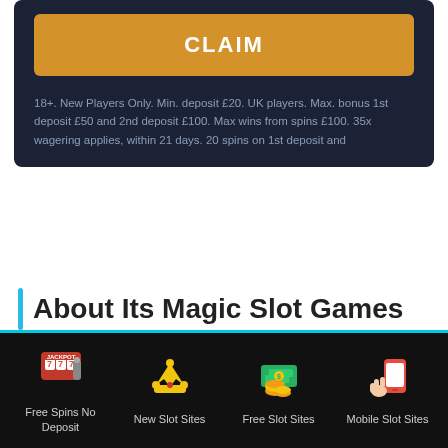[Figure (other): Dark navy card with orange CLAIM button and terms text below]
About Its Magic Slot Games
This slot is a fairytale-themed slot game with five reels, four rows, and 50 paylines running from left to right.
[Figure (infographic): Black footer bar with four icons and labels: Free Spins No Deposit, New Slot Sites, Free Slot Sites, Mobile Slot Sites]